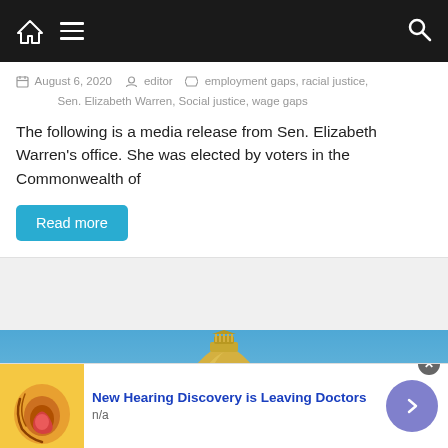Navigation bar with home, menu, and search icons
August 6, 2020  editor  employment gaps, racial justice, Sen. Elizabeth Warren, Social justice, wage gaps
The following is a media release from Sen. Elizabeth Warren's office. She was elected by voters in the Commonwealth of
Read more
[Figure (photo): Capitol building dome against blue sky, gold dome with ornate lantern tower visible]
New Hearing Discovery is Leaving Doctors
n/a